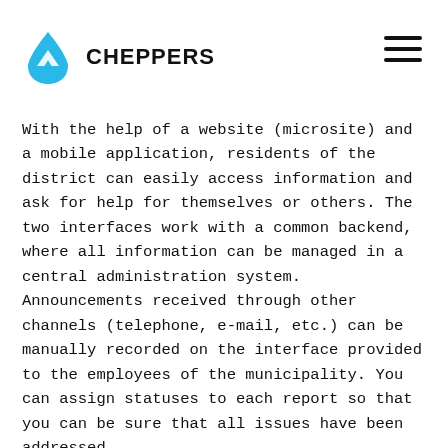CHEPPERS
With the help of a website (microsite) and a mobile application, residents of the district can easily access information and ask for help for themselves or others. The two interfaces work with a common backend, where all information can be managed in a central administration system. Announcements received through other channels (telephone, e-mail, etc.) can be manually recorded on the interface provided to the employees of the municipality. You can assign statuses to each report so that you can be sure that all issues have been addressed.
Because we knew that further improvements were expected after the release of the first version - where